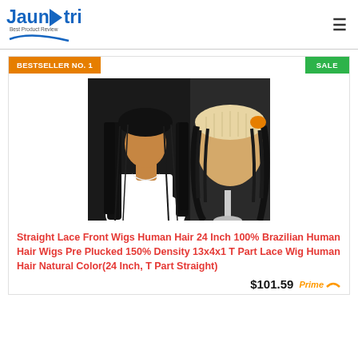Jaunatri Best Product Review
BESTSELLER NO. 1
SALE
[Figure (photo): Product photo showing two views of a straight lace front wig on a woman and on a mannequin head]
Straight Lace Front Wigs Human Hair 24 Inch 100% Brazilian Human Hair Wigs Pre Plucked 150% Density 13x4x1 T Part Lace Wig Human Hair Natural Color(24 Inch, T Part Straight)
$101.59